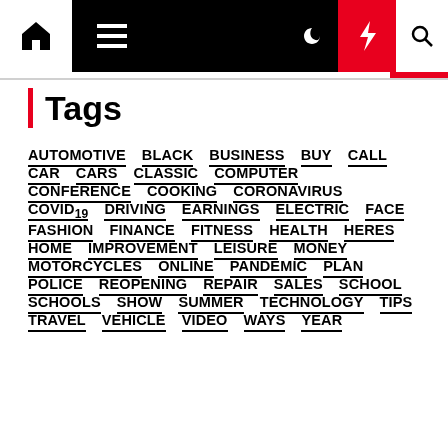Navigation bar with home, menu, moon, lightning, search icons
Tags
AUTOMOTIVE
BLACK
BUSINESS
BUY
CALL
CAR
CARS
CLASSIC
COMPUTER
CONFERENCE
COOKING
CORONAVIRUS
COVID19
DRIVING
EARNINGS
ELECTRIC
FACE
FASHION
FINANCE
FITNESS
HEALTH
HERES
HOME
IMPROVEMENT
LEISURE
MONEY
MOTORCYCLES
ONLINE
PANDEMIC
PLAN
POLICE
REOPENING
REPAIR
SALES
SCHOOL
SCHOOLS
SHOW
SUMMER
TECHNOLOGY
TIPS
TRAVEL
VEHICLE
VIDEO
WAYS
YEAR